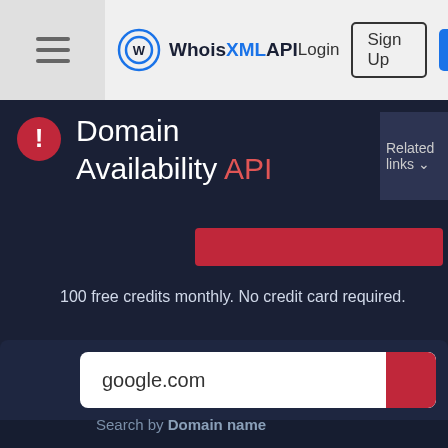WhoisXMLAPI  Login  Sign Up
Domain Availability API
Related links
100 free credits monthly. No credit card required.
google.com
Search by Domain name